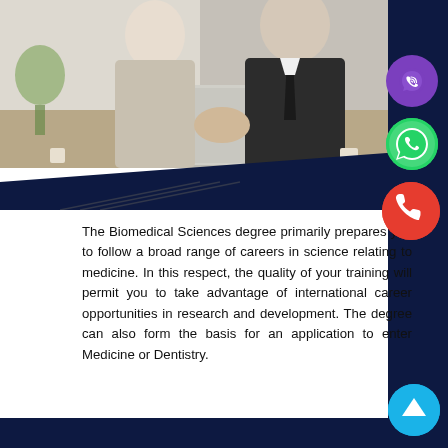[Figure (photo): Photo of a woman and man in business attire shaking hands across a desk with a laptop, in an office setting]
The Biomedical Sciences degree primarily prepares you to follow a broad range of careers in science relating to medicine. In this respect, the quality of your training will permit you to take advantage of international career opportunities in research and development. The degree can also form the basis for an application to enter Medicine or Dentistry.